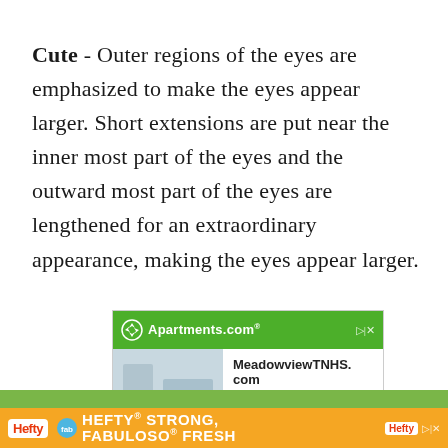Cute - Outer regions of the eyes are emphasized to make the eyes appear larger. Short extensions are put near the inner most part of the eyes and the outward most part of the eyes are lengthened for an extraordinary appearance, making the eyes appear larger.
[Figure (screenshot): Apartments.com advertisement showing MeadowviewTNHS.com listing with price $800]
[Figure (screenshot): Hefty brand advertisement: HEFTY STRONG, FABULOSO FRESH with orange background]